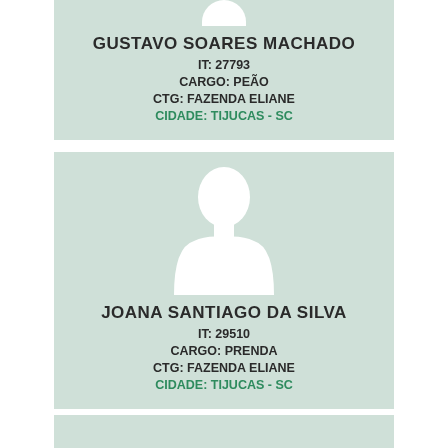[Figure (other): ID card top portion for Gustavo Soares Machado with lanyard hole at top, green card background, name and fields]
GUSTAVO SOARES MACHADO
IT: 27793
CARGO: PEÃO
CTG: FAZENDA ELIANE
CIDADE: TIJUCAS - SC
[Figure (other): ID card for Joana Santiago da Silva with silhouette placeholder image and green card background]
JOANA SANTIAGO DA SILVA
IT: 29510
CARGO: PRENDA
CTG: FAZENDA ELIANE
CIDADE: TIJUCAS - SC